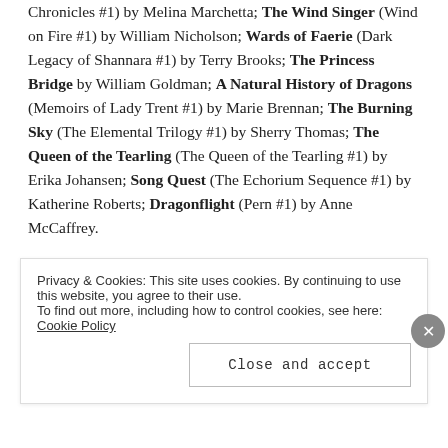Chronicles #1) by Melina Marchetta; The Wind Singer (Wind on Fire #1) by William Nicholson; Wards of Faerie (Dark Legacy of Shannara #1) by Terry Brooks; The Princess Bridge by William Goldman; A Natural History of Dragons (Memoirs of Lady Trent #1) by Marie Brennan; The Burning Sky (The Elemental Trilogy #1) by Sherry Thomas; The Queen of the Tearling (The Queen of the Tearling #1) by Erika Johansen; Song Quest (The Echorium Sequence #1) by Katherine Roberts; Dragonflight (Pern #1) by Anne McCaffrey.
[Figure (other): Broken image placeholder labeled 'Royalty']
Privacy & Cookies: This site uses cookies. By continuing to use this website, you agree to their use.
To find out more, including how to control cookies, see here: Cookie Policy
Close and accept